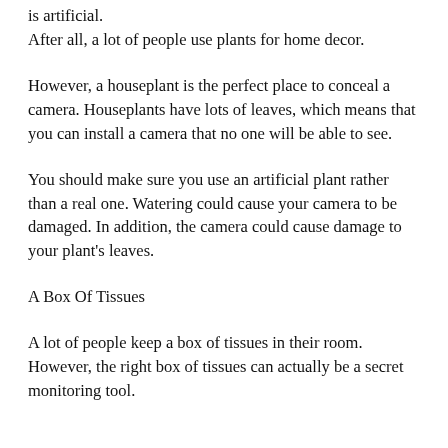is artificial.
After all, a lot of people use plants for home decor.
However, a houseplant is the perfect place to conceal a camera. Houseplants have lots of leaves, which means that you can install a camera that no one will be able to see.
You should make sure you use an artificial plant rather than a real one. Watering could cause your camera to be damaged. In addition, the camera could cause damage to your plant's leaves.
A Box Of Tissues
A lot of people keep a box of tissues in their room. However, the right box of tissues can actually be a secret monitoring tool.